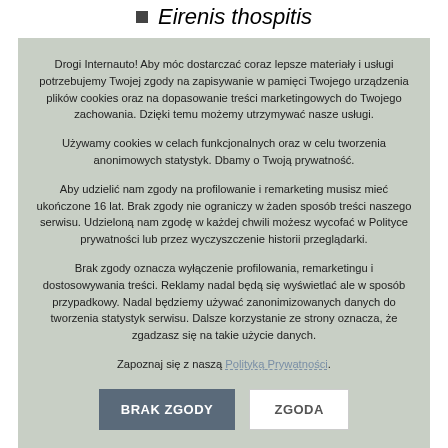Eirenis thospitis
Drogi Internauto! Aby móc dostarczać coraz lepsze materiały i usługi potrzebujemy Twojej zgody na zapisywanie w pamięci Twojego urządzenia plików cookies oraz na dopasowanie treści marketingowych do Twojego zachowania. Dzięki temu możemy utrzymywać nasze usługi.

Używamy cookies w celach funkcjonalnych oraz w celu tworzenia anonimowych statystyk. Dbamy o Twoją prywatność.

Aby udzielić nam zgody na profilowanie i remarketing musisz mieć ukończone 16 lat. Brak zgody nie ograniczy w żaden sposób treści naszego serwisu. Udzieloną nam zgodę w każdej chwili możesz wycofać w Polityce prywatności lub przez wyczyszczenie historii przeglądarki.

Brak zgody oznacza wyłączenie profilowania, remarketingu i dostosowywania treści. Reklamy nadal będą się wyświetlać ale w sposób przypadkowy. Nadal będziemy używać zanonimizowanych danych do tworzenia statystyk serwisu. Dalsze korzystanie ze strony oznacza, że zgadzasz się na takie użycie danych.

Zapoznaj się z naszą Polityką Prywatności.
Wąż czułkowy (Erpeton tentaculum)
Euprepiophis